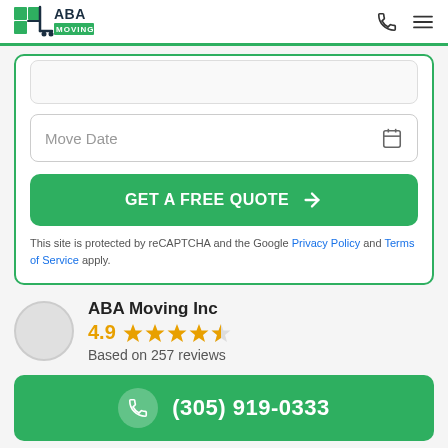[Figure (logo): ABA Moving logo — green squares and moving cart icon with 'ABA MOVING' text in dark navy and green]
Move Date
GET A FREE QUOTE →
This site is protected by reCAPTCHA and the Google Privacy Policy and Terms of Service apply.
ABA Moving Inc
4.9 ★★★★½
Based on 257 reviews
(305) 919-0333
Laureen McGuich 09:45 10 Jul 21